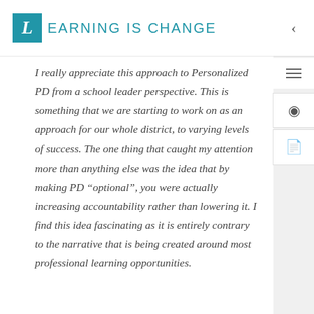LEARNING IS CHANGE
I really appreciate this approach to Personalized PD from a school leader perspective. This is something that we are starting to work on as an approach for our whole district, to varying levels of success. The one thing that caught my attention more than anything else was the idea that by making PD “optional”, you were actually increasing accountability rather than lowering it. I find this idea fascinating as it is entirely contrary to the narrative that is being created around most professional learning opportunities.